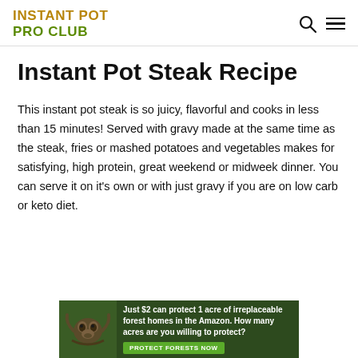INSTANT POT PRO CLUB
Instant Pot Steak Recipe
This instant pot steak is so juicy, flavorful and cooks in less than 15 minutes! Served with gravy made at the same time as the steak, fries or mashed potatoes and vegetables makes for satisfying, high protein, great weekend or midweek dinner. You can serve it on it's own or with just gravy if you are on low carb or keto diet.
[Figure (photo): Advertisement banner: dark green background with a sloth image on the left. Text reads: 'Just $2 can protect 1 acre of irreplaceable forest homes in the Amazon. How many acres are you willing to protect?' with a green 'PROTECT FORESTS NOW' button.]